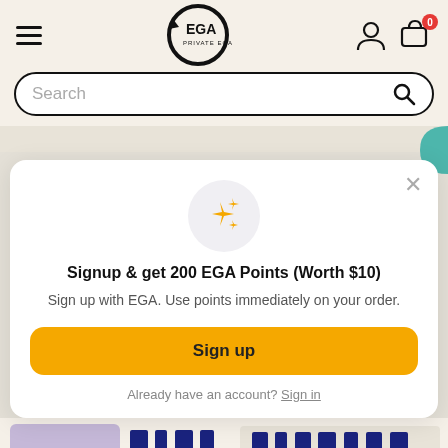[Figure (screenshot): EGA brand logo — circular arrow icon with EGA text inside]
[Figure (screenshot): Search bar with magnifying glass icon]
[Figure (screenshot): Popup modal: sparkles icon, signup prompt, sign up button, sign in link]
Signup & get 200 EGA Points (Worth $10)
Sign up with EGA. Use points immediately on your order.
Sign up
Already have an account? Sign in